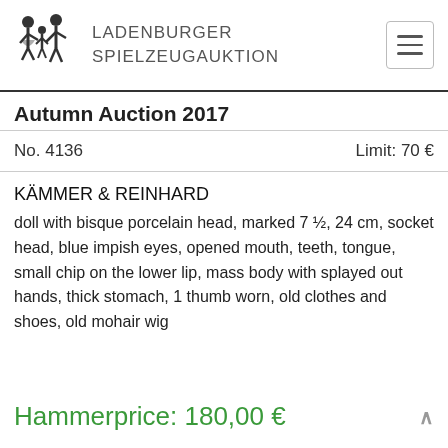LADENBURGER SPIELZEUGAUKTION
Autumn Auction 2017
No. 4136    Limit: 70 €
KÄMMER & REINHARD
doll with bisque porcelain head, marked 7 ½, 24 cm, socket head, blue impish eyes, opened mouth, teeth, tongue, small chip on the lower lip, mass body with splayed out hands, thick stomach, 1 thumb worn, old clothes and shoes, old mohair wig
Hammerprice: 180,00 €